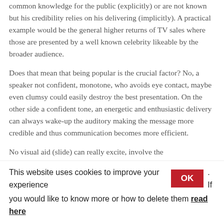common knowledge for the public (explicitly) or are not known but his credibility relies on his delivering (implicitly). A practical example would be the general higher returns of TV sales where those are presented by a well known celebrity likeable by the broader audience.
Does that mean that being popular is the crucial factor? No, a speaker not confident, monotone, who avoids eye contact, maybe even clumsy could easily destroy the best presentation. On the other side a confident tone, an energetic and enthusiastic delivery can always wake-up the auditory making the message more credible and thus communication becomes more efficient.
No visual aid (slide) can really excite, involve the
This website uses cookies to improve your experience . If you would like to know more or how to delete them read here